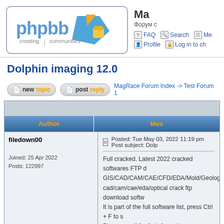[Figure (logo): phpBB logo with blue and orange geometric shapes and text 'phpbb creating communities']
Ma (site title truncated) — Форум с... (subtitle truncated) — FAQ | Search | Me... | Profile | Log in to ch...
Dolphin imaging 12.0
MagRace Forum Index -> Test Forum 1
| Author | Mes... |
| --- | --- |
| filedown00

Joined: 25 Apr 2022
Posts: 122997 | Posted: Tue May 03, 2022 11:19 pm    Post subject: Dolp...

Full cracked. Latest 2022 cracked softwares FTP d...
GIS/CAD/CAM/CAE/CFD/EDA/Mold/Geological/S...
cad/cam/cae/eda/optical crack ftp download softw...
It is part of the full software list, press Ctrl + F to s...
Please email for ftp informations: yamyty#inbox.ru... |